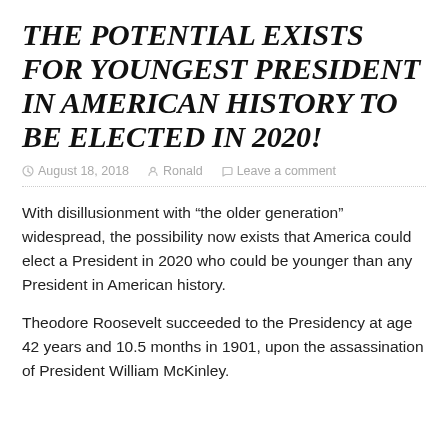THE POTENTIAL EXISTS FOR YOUNGEST PRESIDENT IN AMERICAN HISTORY TO BE ELECTED IN 2020!
August 18, 2018   Ronald   Leave a comment
With disillusionment with “the older generation” widespread, the possibility now exists that America could elect a President in 2020 who could be younger than any President in American history.
Theodore Roosevelt succeeded to the Presidency at age 42 years and 10.5 months in 1901, upon the assassination of President William McKinley.